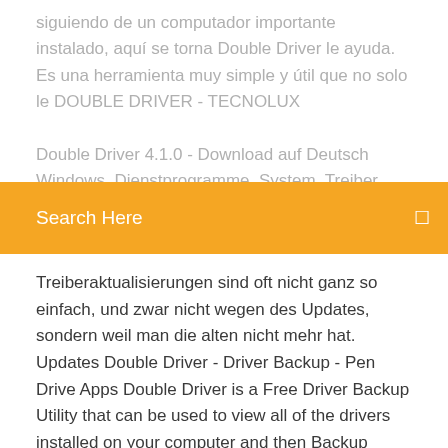siguiendo de un computador importante instalado, aquí se torna Double Driver le ayuda. Es una herramienta muy simple y útil que no solo le DOUBLE DRIVER - TECNOLUX

Double Driver 4.1.0 - Download auf Deutsch Windows. Dienstprogramme. System. Treiber. Double Driver. Double Driver. 4.1.0 für Windows. Budy Setiawan Kusumah. 4.8. 4
Search Here
Treiberaktualisierungen sind oft nicht ganz so einfach, und zwar nicht wegen des Updates, sondern weil man die alten nicht mehr hat. Updates Double Driver - Driver Backup - Pen Drive Apps Double Driver is a Free Driver Backup Utility that can be used to view all of the drivers installed on your computer and then Backup Drivers, Restore Drivers, Save Drivers or print a list of chosen drivers. Installed Driver details such as Setup Information, Hardware ID, Version, Date, Provider and Class are displayed and can be printed for reference. Double Driver